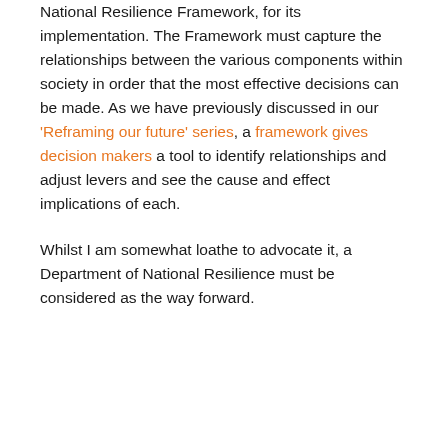National Resilience Framework, for its implementation. The Framework must capture the relationships between the various components within society in order that the most effective decisions can be made. As we have previously discussed in our ‘Reframing our future’ series, a framework gives decision makers a tool to identify relationships and adjust levers and see the cause and effect implications of each.
Whilst I am somewhat loathe to advocate it, a Department of National Resilience must be considered as the way forward.